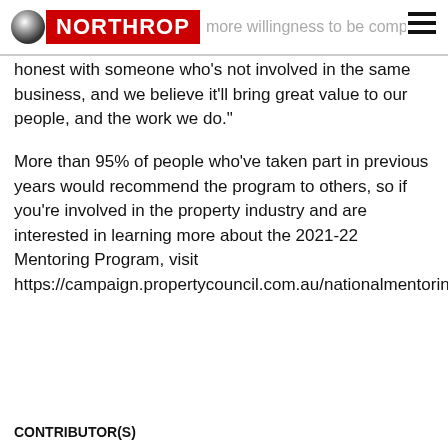NORTHROP [partial header text: more willingness to be comple...]
honest with someone who’s not involved in the same business, and we believe it’ll bring great value to our people, and the work we do.”
More than 95% of people who’ve taken part in previous years would recommend the program to others, so if you’re involved in the property industry and are interested in learning more about the 2021-22 Mentoring Program, visit https://campaign.propertycouncil.com.au/nationalmentoring
CONTRIBUTOR(S)